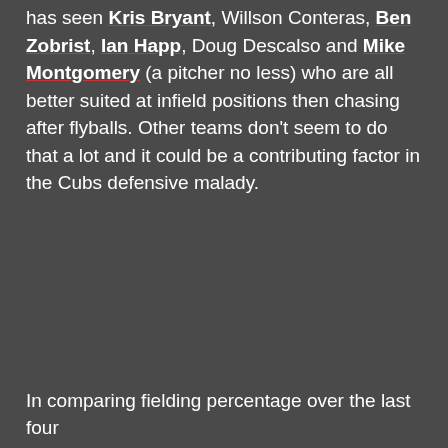has seen Kris Bryant, Willson Conteras, Ben Zobrist, Ian Happ, Doug Descalso and Mike Montgomery (a pitcher no less) who are all better suited at infield positions then chasing after flyballs. Other teams don't seem to do that a lot and it could be a contributing factor in the Cubs defensive malady.
In comparing fielding percentage over the last four